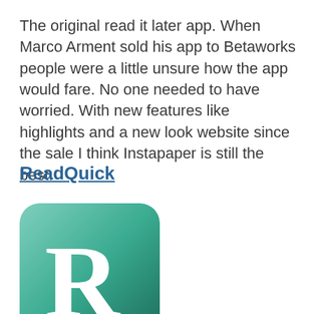The original read it later app. When Marco Arment sold his app to Betaworks people were a little unsure how the app would fare. No one needed to have worried. With new features like highlights and a new look website since the sale I think Instapaper is still the best.
ReadQuick
[Figure (logo): ReadQuick app icon: a rounded square with a teal-to-dark-teal gradient background, featuring a large white serif letter R with a tail curving to the right.]